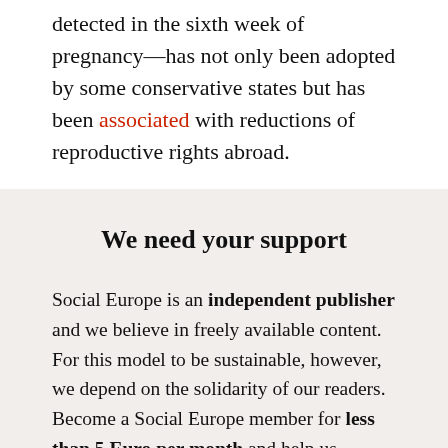detected in the sixth week of pregnancy—has not only been adopted by some conservative states but has been associated with reductions of reproductive rights abroad.
We need your support
Social Europe is an independent publisher and we believe in freely available content. For this model to be sustainable, however, we depend on the solidarity of our readers. Become a Social Europe member for less than 5 Euro per month and help us produce more articles,